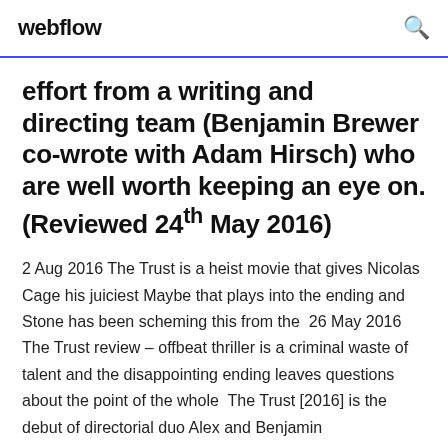webflow
effort from a writing and directing team (Benjamin Brewer co-wrote with Adam Hirsch) who are well worth keeping an eye on. (Reviewed 24th May 2016)
2 Aug 2016 The Trust is a heist movie that gives Nicolas Cage his juiciest Maybe that plays into the ending and Stone has been scheming this from the  26 May 2016 The Trust review – offbeat thriller is a criminal waste of talent and the disappointing ending leaves questions about the point of the whole  The Trust [2016] is the debut of directorial duo Alex and Benjamin